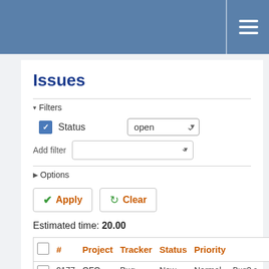Issues tracker page header with hamburger menu
Issues
Filters (expanded) — Status: open
Add filter
Options (collapsed)
Apply | Clear
Estimated time: 20.00
|  | # | Project | Tracker | Status | Priority | Subject |
| --- | --- | --- | --- | --- | --- | --- |
|  | 9177 | QFQ | Bug | New | Normal | Bug? o save a which existin |
|  | 9781 | QFQ | Feature | New | Normal | Button make |